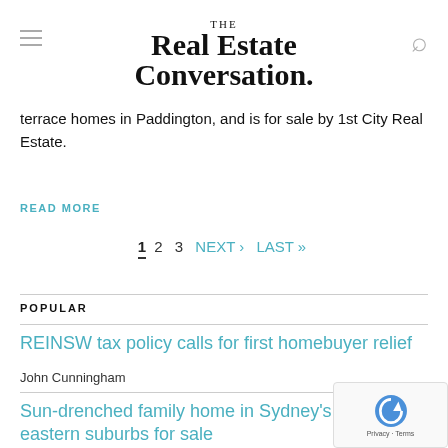THE Real Estate Conversation.
terrace homes in Paddington, and is for sale by 1st City Real Estate.
READ MORE
1  2  3  NEXT ›  LAST »
POPULAR
REINSW tax policy calls for first homebuyer relief
John Cunningham
Sun-drenched family home in Sydney's eastern suburbs for sale